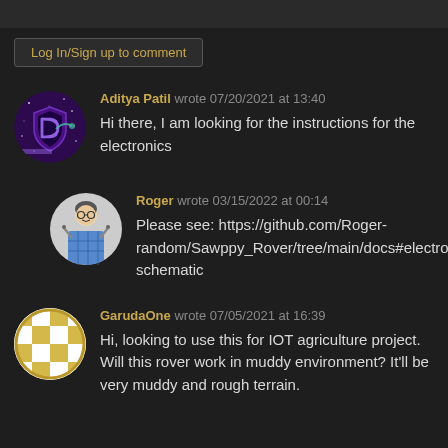Log In/Sign up to comment
[Figure (photo): Avatar for Aditya Patil - purple/galaxy themed circular logo with shield icon]
Aditya Patil wrote 07/20/2021 at 13:40
Hi there, I am looking for the instructions for the electronics
[Figure (photo): Avatar for Roger - photo of a man in plaid shirt holding tools]
Roger wrote 03/15/2022 at 00:14
Please see: https://github.com/Roger-random/Sawppy_Rover/tree/main/docs#electronic-schematic
[Figure (logo): Avatar for GarudaOne - circular logo with checkered pattern in gold/white]
GarudaOne wrote 07/05/2021 at 16:39
Hi, looking to use this for IOT agriculture project. Will this rover work in muddy environment? It'll be very muddy and rough terrain.